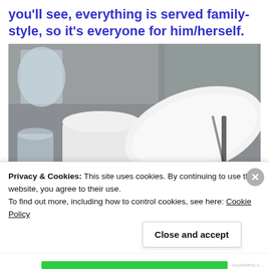you'll see, everything is served family-style, so it's everyone for him/herself.
[Figure (photo): Photo of a restaurant table setting showing a white ceramic pitcher, a white oval plate, utensils, and a bowl of salad with lettuce and vegetables on a metal table surface, with a person in a grey shirt visible in the background.]
Privacy & Cookies: This site uses cookies. By continuing to use this website, you agree to their use.
To find out more, including how to control cookies, see here: Cookie Policy
Close and accept